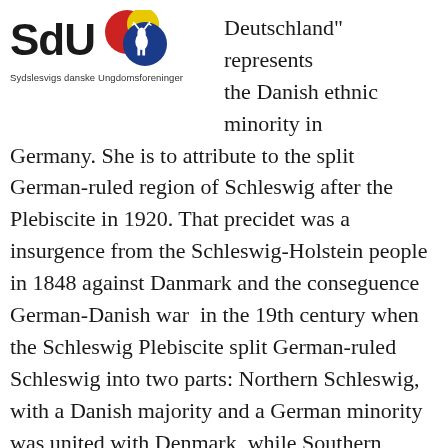[Figure (logo): SdU logo: large bold 'SdU' text beside overlapping red, yellow, and blue circles with a white deer/stag silhouette, and subtitle 'Sydslesvigs danske Ungdomsforeninger']
Deutschland" represents the Danish ethnic minority in Germany. She is to attribute to the split German-ruled region of Schleswig after the Plebiscite in 1920. That precidet was a insurgence from the Schleswig-Holstein people in 1848 against Danmark and the conseguence German-Danish war in the 19th century when the Schleswig Plebiscite split German-ruled Schleswig into two parts: Northern Schleswig, with a Danish majority and a German minority was united with Denmark, while Southern Schleswig remained a part of Germany and had a German majority and Danish and Frisian minority populations. One of the most common names they use to describe themselves is danske sydslesvigere (Danish South Schleswigians)